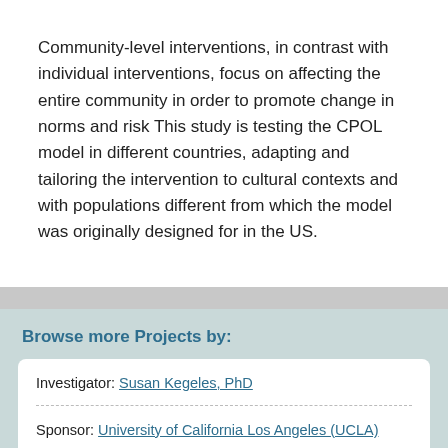Community-level interventions, in contrast with individual interventions, focus on affecting the entire community in order to promote change in norms and risk This study is testing the CPOL model in different countries, adapting and tailoring the intervention to cultural contexts and with populations different from which the model was originally designed for in the US.
Browse more Projects by:
Investigator: Susan Kegeles, PhD
Sponsor: University of California Los Angeles (UCLA)
Locations: Peru; United States
Topics: HIV/AIDS, Implementation and Behavioral Science
Organizations: Prevention Science (funder), the Center for...